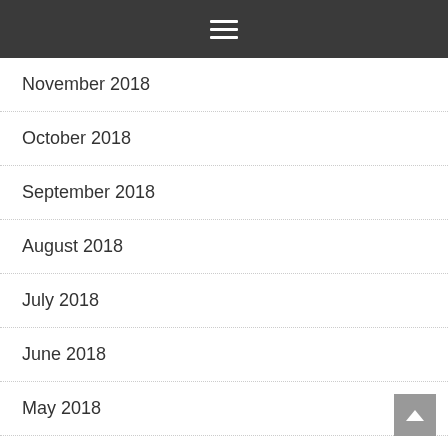≡
November 2018
October 2018
September 2018
August 2018
July 2018
June 2018
May 2018
March 2018
February 2018
January 2018
December 2017